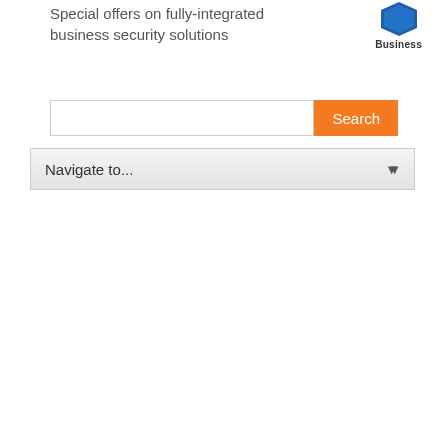Special offers on fully-integrated business security solutions
[Figure (logo): Blue hexagon/shield shaped logo with 'Business' text below]
[Figure (screenshot): Search input box with orange Search button]
[Figure (screenshot): Navigate to... dropdown selector]